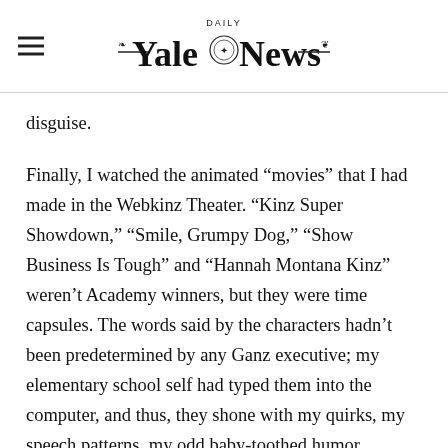Yale Daily News
disguise.
Finally, I watched the animated “movies” that I had made in the Webkinz Theater. “Kinz Super Showdown,” “Smile, Grumpy Dog,” “Show Business Is Tough” and “Hannah Montana Kinz” weren’t Academy winners, but they were time capsules. The words said by the characters hadn’t been predetermined by any Ganz executive; my elementary school self had typed them into the computer, and thus, they shone with my quirks, my speech patterns, my odd baby-toothed humor. Looking back on how many hours I spent using that one feature of the site, I smiled, thinking that Young Britt would be happy to witness